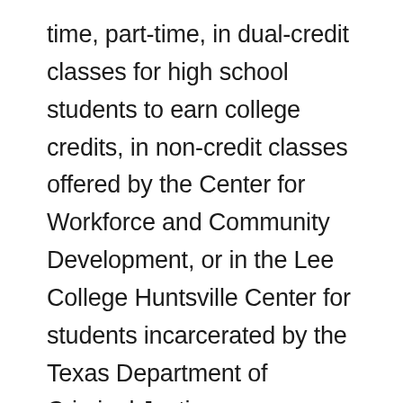time, part-time, in dual-credit classes for high school students to earn college credits, in non-credit classes offered by the Center for Workforce and Community Development, or in the Lee College Huntsville Center for students incarcerated by the Texas Department of Criminal Justice.
Warford also supported the creation of the Britt/Hodgin Second Chance Scholarship benefiting students in the offender education program, and even found funds to purchase uniforms for the Model United Nations student